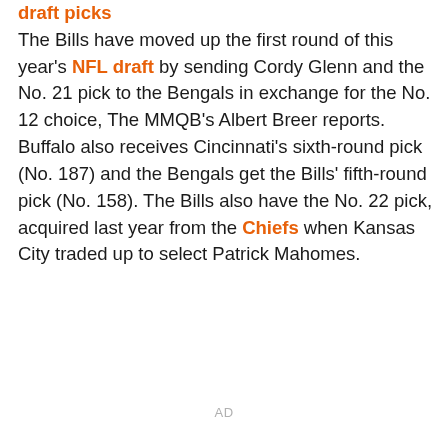draft picks The Bills have moved up the first round of this year's NFL draft by sending Cordy Glenn and the No. 21 pick to the Bengals in exchange for the No. 12 choice, The MMQB's Albert Breer reports. Buffalo also receives Cincinnati's sixth-round pick (No. 187) and the Bengals get the Bills' fifth-round pick (No. 158). The Bills also have the No. 22 pick, acquired last year from the Chiefs when Kansas City traded up to select Patrick Mahomes.
AD